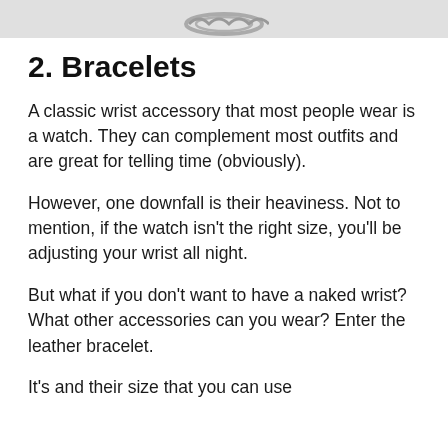[Figure (photo): Partial image of a chain bracelet against a light gray background, cropped at the top of the page.]
2. Bracelets
A classic wrist accessory that most people wear is a watch. They can complement most outfits and are great for telling time (obviously).
However, one downfall is their heaviness. Not to mention, if the watch isn't the right size, you'll be adjusting your wrist all night.
But what if you don't want to have a naked wrist? What other accessories can you wear? Enter the leather bracelet.
It's and their size that you can use...